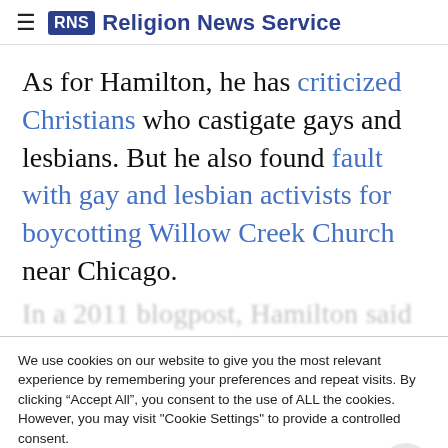RNS Religion News Service
As for Hamilton, he has criticized Christians who castigate gays and lesbians. But he also found fault with gay and lesbian activists for boycotting Willow Creek Church near Chicago.
In a 2011 blogpost, Hamilton said
We use cookies on our website to give you the most relevant experience by remembering your preferences and repeat visits. By clicking “Accept All”, you consent to the use of ALL the cookies. However, you may visit "Cookie Settings" to provide a controlled consent.